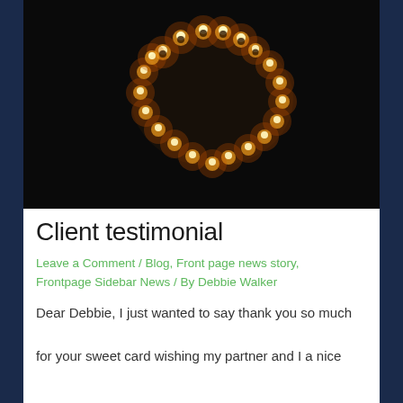[Figure (photo): Dark photograph showing a heart shape formed by small glowing candles/lights arranged in a heart pattern against a black background]
Client testimonial
Leave a Comment / Blog, Front page news story, Frontpage Sidebar News / By Debbie Walker
Dear Debbie, I just wanted to say thank you so much for your sweet card wishing my partner and I a nice